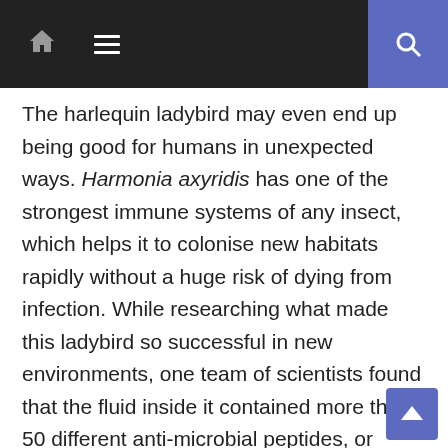Navigation bar with home icon, menu icon, and search button
The harlequin ladybird may even end up being good for humans in unexpected ways. Harmonia axyridis has one of the strongest immune systems of any insect, which helps it to colonise new habitats rapidly without a huge risk of dying from infection. While researching what made this ladybird so successful in new environments, one team of scientists found that the fluid inside it contained more than 50 different anti-microbial peptides, or chemicals which protect the ladybird against infections – more than any other insect. Some of the chemicals found in the beetle are effective against malaria and even cancer – for this reason, it has been identified as a possible source of new drugs. They do